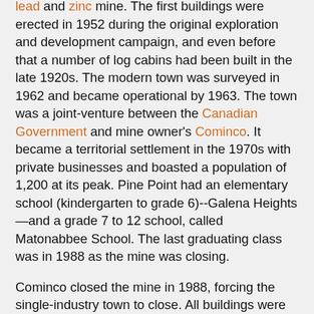lead and zinc mine. The first buildings were erected in 1952 during the original exploration and development campaign, and even before that a number of log cabins had been built in the late 1920s. The modern town was surveyed in 1962 and became operational by 1963. The town was a joint-venture between the Canadian Government and mine owner's Cominco. It became a territorial settlement in the 1970s with private businesses and boasted a population of 1,200 at its peak. Pine Point had an elementary school (kindergarten to grade 6)--Galena Heights—and a grade 7 to 12 school, called Matonabbee School. The last graduating class was in 1988 as the mine was closing.
Cominco closed the mine in 1988, forcing the single-industry town to close. All buildings were removed or demolished, and today the site is completely abandoned, although there is still evidence of the street layout.
Pine Point is the subject of a 2011 Welcome to Pine Point, created by Michael Simons and Paul Shoebridge.
The web documentary includes audiovisual material and